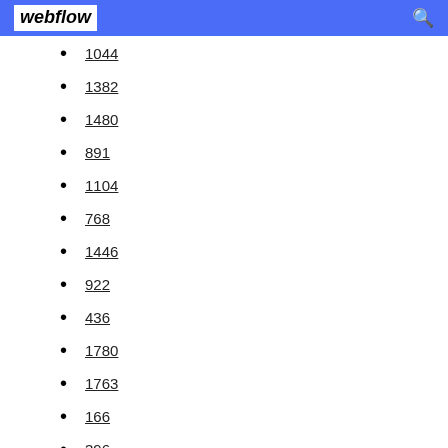webflow
1044
1382
1480
891
1104
768
1446
922
436
1780
1763
166
396